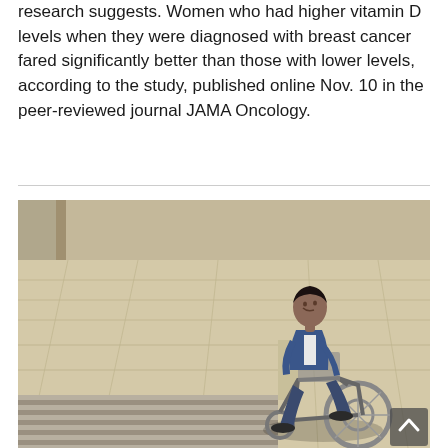research suggests. Women who had higher vitamin D levels when they were diagnosed with breast cancer fared significantly better than those with lower levels, according to the study, published online Nov. 10 in the peer-reviewed journal JAMA Oncology.
[Figure (photo): A young Black man in a blue blazer and jeans sits in a manual wheelchair on a tiled outdoor plaza area with steps visible in the foreground. He is looking downward with a somber expression.]